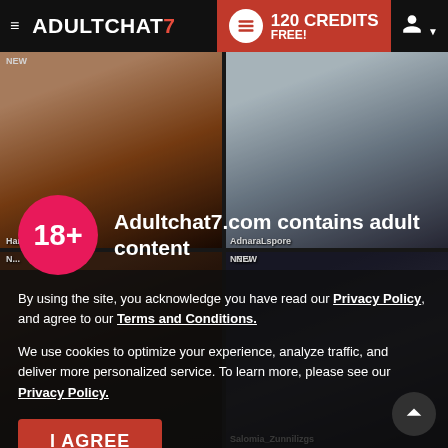≡ ADULTCHAT7  120 CREDITS FREE!
[Figure (screenshot): Website UI screenshot of AdultChat7.com showing a grid of live webcam performer thumbnails with a dark overlay and an age verification modal dialog]
Adultchat7.com contains adult content
By using the site, you acknowledge you have read our Privacy Policy, and agree to our Terms and Conditions.
We use cookies to optimize your experience, analyze traffic, and deliver more personalized service. To learn more, please see our Privacy Policy.
I AGREE